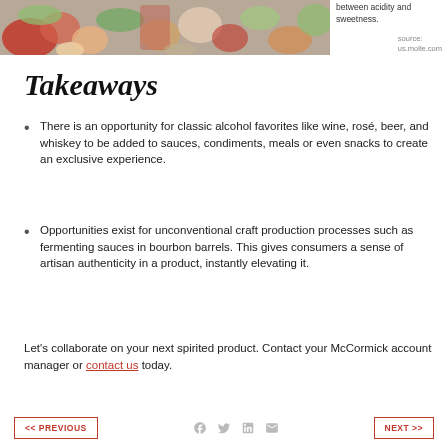[Figure (photo): Food spread photo showing shrimp, tomatoes, herbs, and colorful dishes]
between acidity and sweetness.
source: us.molle.com
Takeaways
There is an opportunity for classic alcohol favorites like wine, rosé, beer, and whiskey to be added to sauces, condiments, meals or even snacks to create an exclusive experience.
Opportunities exist for unconventional craft production processes such as fermenting sauces in bourbon barrels. This gives consumers a sense of artisan authenticity in a product, instantly elevating it.
Let's collaborate on your next spirited product. Contact your McCormick account manager or contact us today.
<< PREVIOUS   NEXT >>